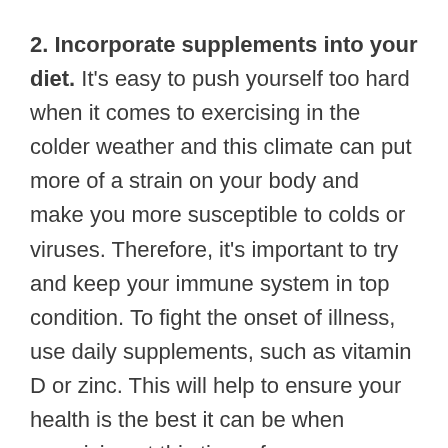2. Incorporate supplements into your diet. It's easy to push yourself too hard when it comes to exercising in the colder weather and this climate can put more of a strain on your body and make you more susceptible to colds or viruses. Therefore, it's important to try and keep your immune system in top condition. To fight the onset of illness, use daily supplements, such as vitamin D or zinc. This will help to ensure your health is the best it can be when exercising at this time of year.
3. Layer up. The key to cycling in winter is wearing lots of layers on your top half. Several layers of thin, technical fabric are a lot better than one sufficient...